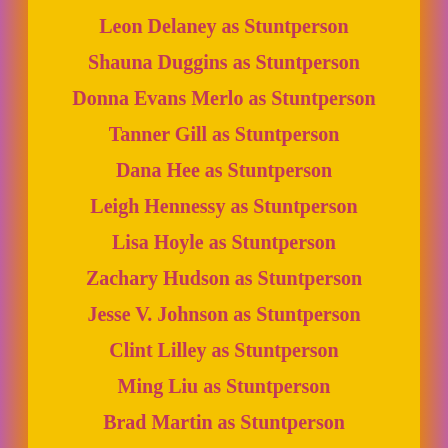Leon Delaney as Stuntperson
Shauna Duggins as Stuntperson
Donna Evans Merlo as Stuntperson
Tanner Gill as Stuntperson
Dana Hee as Stuntperson
Leigh Hennessy as Stuntperson
Lisa Hoyle as Stuntperson
Zachary Hudson as Stuntperson
Jesse V. Johnson as Stuntperson
Clint Lilley as Stuntperson
Ming Liu as Stuntperson
Brad Martin as Stuntperson